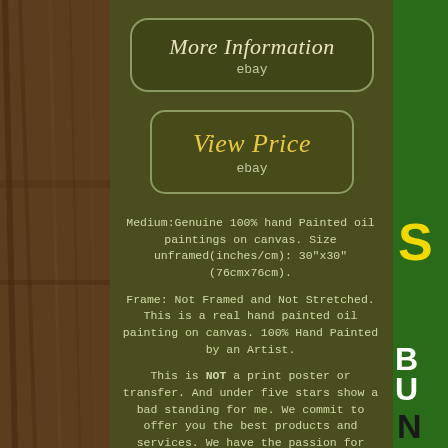[Figure (screenshot): eBay listing page screenshot with dark olive green background, wood texture on left side, green/yellow sign on right side, two buttons labeled 'More Information ebay' and 'View Price ebay', and product description text below]
More Information
ebay
View Price
ebay
Medium:Genuine 100% hand Painted oil paintings on canvas. Size unframed(inches/cm): 30"x30" (76cmx76cm).
Frame: Not Framed and Not Stretched. This is a real hand painted oil painting on canvas. 100% Hand Painted by an Artist.
This is NOT a print poster or transfer. And under five stars show a bad standing for me. We commit to offer you the best products and services. We have the passion for painting for more than 18 years. We